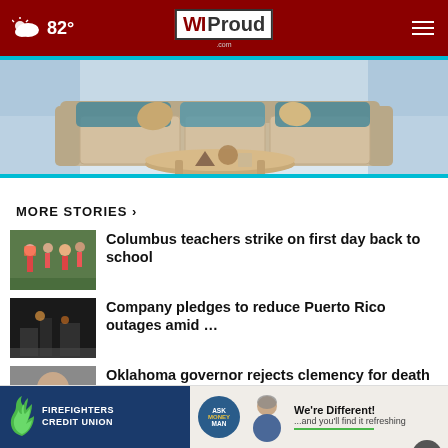WIProud.com — 82° weather
[Figure (photo): Advertisement banner showing a living room with a sofa, throw pillows, and a round coffee table with decorative objects]
MORE STORIES ›
Columbus teachers strike on first day back to school
Company pledges to reduce Puerto Rico outages amid …
Oklahoma governor rejects clemency for death row …
rocket, 50 years after …
[Figure (infographic): Bottom advertisement: Firefighters Credit Union on the left with green flame logo, and Ask Money Man 'We're Different! ...and you'll find it refreshing' on the right]